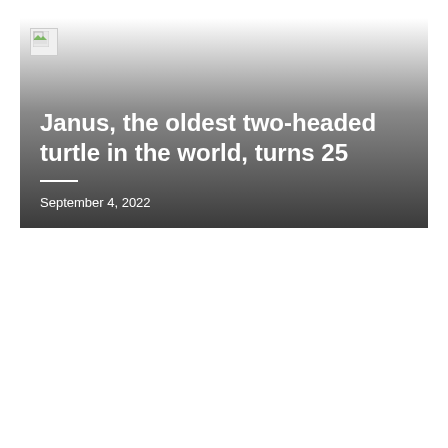[Figure (photo): Banner image area with a broken image placeholder icon in the top-left corner, overlaid with a gradient from white to dark gray. Contains the article title and date.]
Janus, the oldest two-headed turtle in the world, turns 25
September 4, 2022